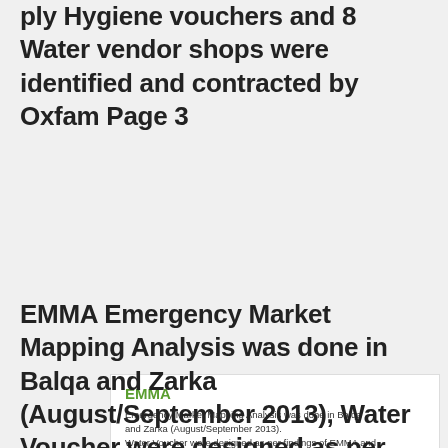ply Hygiene vouchers and 8 Water vendor shops were identified and contracted by Oxfam Page 3
[Figure (screenshot): A slide/box showing EMMA section with text about Emergency Market Mapping Analysis done in Balqa and Zarka (August/September 2013), Water Voucher design, UNHCR website reference, and a URL link with Oxfam logo and page number]
EMMA Emergency Market Mapping Analysis was done in Balqa and Zarka (August/September 2013), Water Voucher were designed as per findings of EMMA and recommendations thereof For EMMA recommendations Please refer to UNHCR Website OR below link http://data. unhcr. org/syrianrefugees/doc